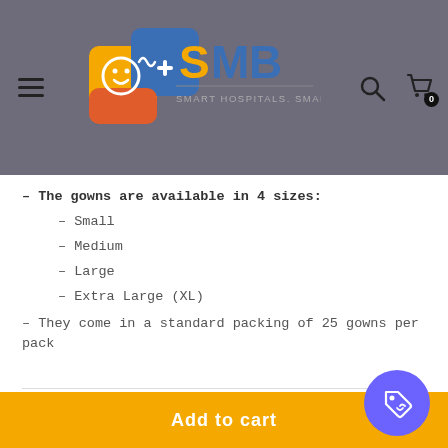SMB – Smart Hospitals. Smarter Solutions.
– The gowns are available in 4 sizes:
– Small
– Medium
– Large
– Extra Large (XL)
– They come in a standard packing of 25 gowns per pack
REVIEWS
Add to cart